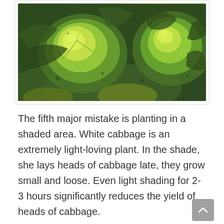[Figure (photo): Close-up photograph of green/white cabbages growing, showing large leafy heads with light green inner leaves and darker outer leaves]
The fifth major mistake is planting in a shaded area. White cabbage is an extremely light-loving plant. In the shade, she lays heads of cabbage late, they grow small and loose. Even light shading for 2-3 hours significantly reduces the yield of heads of cabbage.